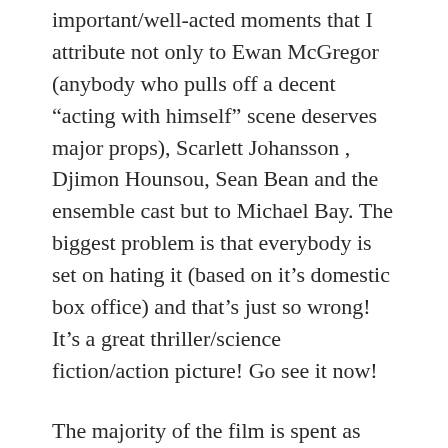important/well-acted moments that I attribute not only to Ewan McGregor (anybody who pulls off a decent “acting with himself” scene deserves major props), Scarlett Johansson , Djimon Hounsou, Sean Bean and the ensemble cast but to Michael Bay. The biggest problem is that everybody is set on hating it (based on it’s domestic box office) and that’s just so wrong! It’s a great thriller/science fiction/action picture! Go see it now!
The majority of the film is spent as one of those bizarre chase movies where the leads are constantly trying to escape and outwit The Great Machine…to be more than cogs in life…(again with the clichés…I know, I know!), but the tension of the film is pulled off in a